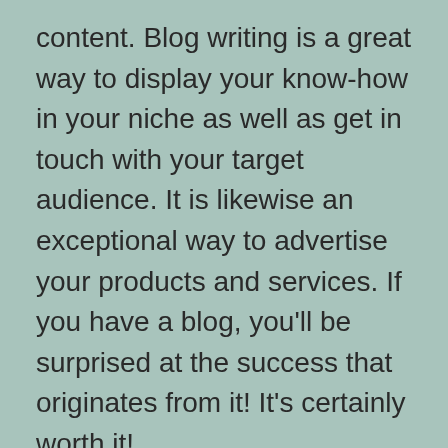content. Blog writing is a great way to display your know-how in your niche as well as get in touch with your target audience. It is likewise an exceptional way to advertise your products and services. If you have a blog, you'll be surprised at the success that originates from it! It's certainly worth it!
The next action is to decide which blog writing platform is right for you. There are numerous blog writing systems available, with each using its own benefits and also negative aspects. WordPress and also Medium both provide standard customization options, and you may